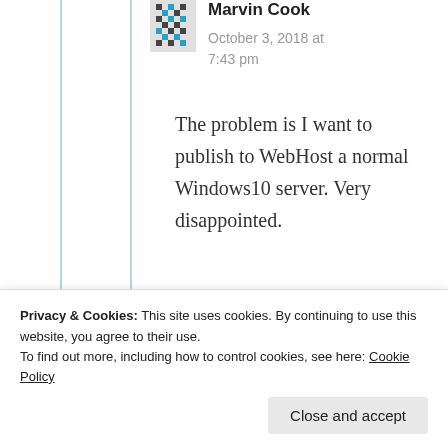[Figure (illustration): User avatar/profile picture - small pixelated icon in teal/dark colors]
Marvin Cook
October 3, 2018 at 7:43 pm
The problem is I want to publish to WebHost a normal Windows10 server. Very disappointed.
★ Like
Privacy & Cookies: This site uses cookies. By continuing to use this website, you agree to their use.
To find out more, including how to control cookies, see here: Cookie Policy
Close and accept